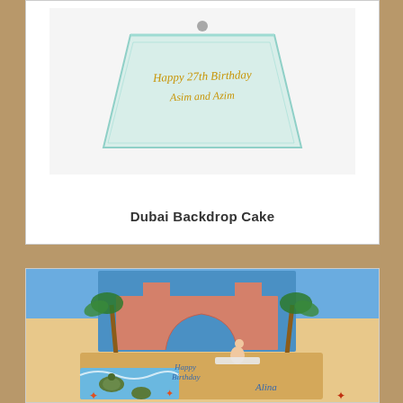[Figure (photo): A decorated cake with a glass backdrop engraved with 'Happy 27th Birthday Asim and Azim', placed on a white surface.]
Dubai Backdrop Cake
[Figure (photo): A Dubai-themed birthday cake featuring the Atlantis Hotel as a backdrop print, palm trees, a reclining woman figurine in a bikini, sea turtles, starfish decorations, with 'Happy Birthday Alina' written on the cake.]